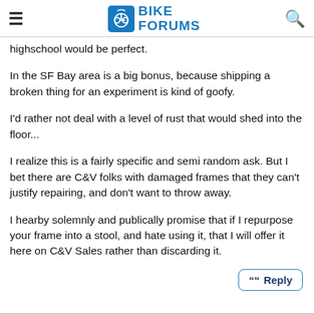Bike Forums
highschool would be perfect.
In the SF Bay area is a big bonus, because shipping a broken thing for an experiment is kind of goofy.
I'd rather not deal with a level of rust that would shed into the floor...
I realize this is a fairly specific and semi random ask. But I bet there are C&V folks with damaged frames that they can't justify repairing, and don't want to throw away.
I hearby solemnly and publically promise that if I repurpose your frame into a stool, and hate using it, that I will offer it here on C&V Sales rather than discarding it.